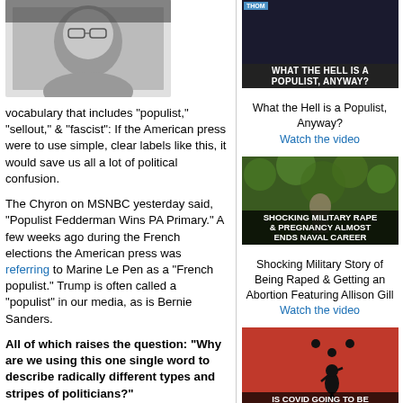[Figure (photo): Black and white photo of a man with glasses]
vocabulary that includes "populist," "sellout," & "fascist": If the American press were to use simple, clear labels like this, it would save us all a lot of political confusion.
The Chyron on MSNBC yesterday said, "Populist Fedderman Wins PA Primary." A few weeks ago during the French elections the American press was referring to Marine Le Pen as a "French populist." Trump is often called a "populist" in our media, as is Bernie Sanders.
All of which raises the question: "Why are we using this one single word to describe radically different types and stripes of politicians?"
[Figure (screenshot): Thumbnail: WHAT THE HELL IS A POPULIST, ANYWAY?]
What the Hell is a Populist, Anyway?
Watch the video
[Figure (screenshot): Thumbnail: SHOCKING MILITARY RAPE & PREGNANCY ALMOST ENDS NAVAL CAREER]
Shocking Military Story of Being Raped & Getting an Abortion Featuring Allison Gill
Watch the video
[Figure (screenshot): Thumbnail: IS COVID GOING TO BE WITH US FOREVER?]
Is Covid Going to Be With Us in 3-4